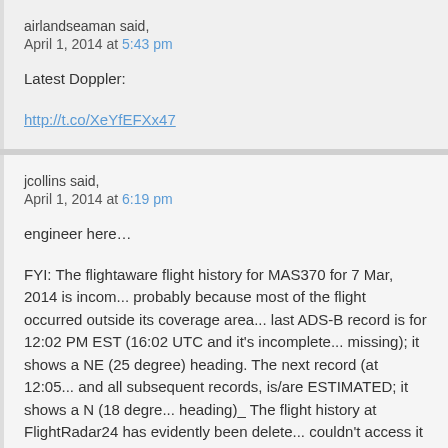airlandseaman said,
April 1, 2014 at 5:43 pm
Latest Doppler:
http://t.co/XeYfEFXx47
jcollins said,
April 1, 2014 at 6:19 pm
engineer here…
FYI: The flightaware flight history for MAS370 for 7 Mar, 2014 is incom... probably because most of the flight occurred outside its coverage area... last ADS-B record is for 12:02 PM EST (16:02 UTC and it's incomplete... missing); it shows a NE (25 degree) heading. The next record (at 12:05... and all subsequent records, is/are ESTIMATED; it shows a N (18 degre... heading)_ The flight history at FlightRadar24 has evidently been delete... couldn't access it today)..I do have a few records (screenshots) which... from earlier. The last FR24 record, presumably at 17:22 UTC (times ar... listed) shows a track of 40 degrees. The record which immediately pre... shows a track of 25 degrees. FlightRadar24 tracked mh370 until the transponder died and ADS-B conked out. I read somewhere that the fli...